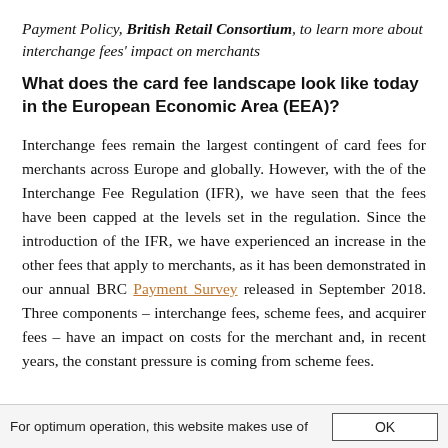Payment Policy, British Retail Consortium, to learn more about interchange fees' impact on merchants
What does the card fee landscape look like today in the European Economic Area (EEA)?
Interchange fees remain the largest contingent of card fees for merchants across Europe and globally. However, with the of the Interchange Fee Regulation (IFR), we have seen that the fees have been capped at the levels set in the regulation. Since the introduction of the IFR, we have experienced an increase in the other fees that apply to merchants, as it has been demonstrated in our annual BRC Payment Survey released in September 2018. Three components – interchange fees, scheme fees, and acquirer fees – have an impact on costs for the merchant and, in recent years, the constant pressure is coming from scheme fees.
For optimum operation, this website makes use of
OK